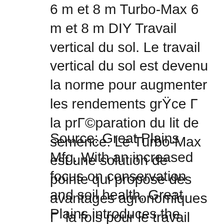6 m et 8 m Turbo-Max 6 m et 8 m DIY Travail vertical du sol. Le travail vertical du sol est devenu la norme pour augmenter les rendements grŸce  la prparation du lit de semence. Le Turbo-Max est une solution de pointe qui propose des avantages agronomiques  la fois pour le travail vertical du sol au printemps et pour la gestion des rsidus  l'automne. Les
Source: Great Plains Mfg. With an increased focus on conservation and soil health, Great Plains introduces the new Turbo-Seeder Attachment for Turbo-Max. The new attachment offers a cost-effective, productive method for seeding cover crops with a true vertical